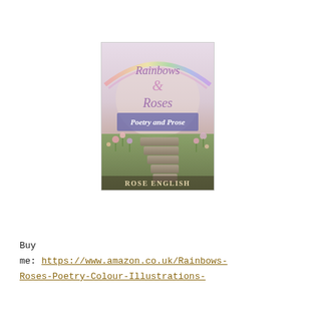[Figure (photo): Book cover of 'Rainbows & Roses: Poetry and Prose' by Rose English. The cover features a soft pastel garden scene with stone steps, flowers, and a rainbow. Title in decorative script at top, subtitle 'Poetry and Prose' in white text in the middle, and author name 'Rose English' at the bottom in serif font.]
Buy me: https://www.amazon.co.uk/Rainbows-Roses-Poetry-Colour-Illustrations-